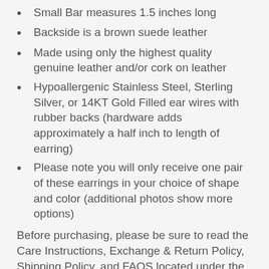Small Bar measures 1.5 inches long
Backside is a brown suede leather
Made using only the highest quality genuine leather and/or cork on leather
Hypoallergenic Stainless Steel, Sterling Silver, or 14KT Gold Filled ear wires with rubber backs (hardware adds approximately a half inch to length of earring)
Please note you will only receive one pair of these earrings in your choice of shape and color (additional photos show more options)
Before purchasing, please be sure to read the Care Instructions, Exchange & Return Policy, Shipping Policy, and FAQS located under the "About Us" tab. By purchasing, you agree you have reviewed these